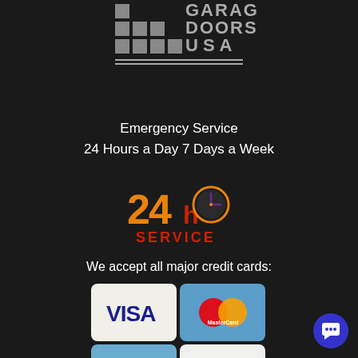[Figure (logo): Garage Doors USA logo with grid of squares on dark background]
Emergency Service
24 Hours a Day 7 Days a Week
[Figure (illustration): 24h Service icon with orange/red numerals and clock graphic]
We accept all major credit cards:
[Figure (illustration): Four credit card logos: Visa, MasterCard, American Express, Discover Network]